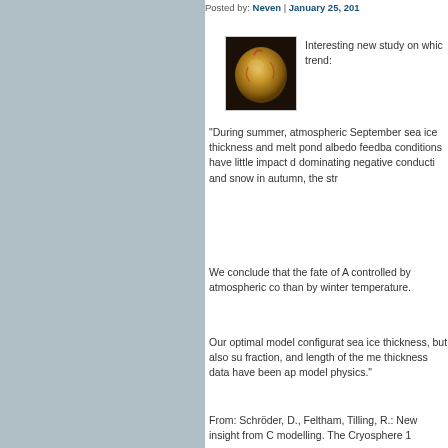Posted by: Neven | January 25, 201
[Figure (photo): A small image of what appears to be a golden/orange fruit or object with reddish markings against a dark background]
Interesting new study on whic trend:
"During summer, atmospheric September sea ice thickness and melt pond albedo feedba conditions have little impact d dominating negative conducti and snow in autumn, the str
We conclude that the fate of A controlled by atmospheric co than by winter temperature.
Our optimal model configurat sea ice thickness, but also su fraction, and length of the me thickness data have been ap model physics."
From: Schröder, D., Feltham, Tilling, R.: New insight from C modelling. The Cryosphere 1